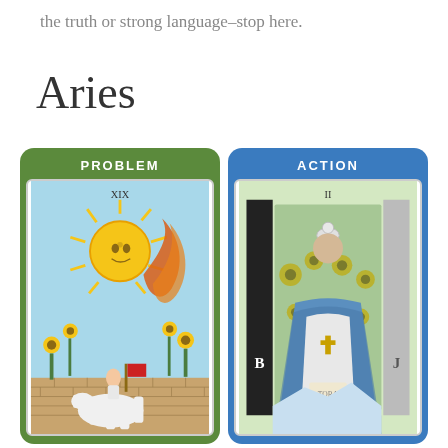the truth or strong language–stop here.
Aries
[Figure (photo): Two tarot cards side by side. Left card has green background labeled PROBLEM showing The Sun tarot card (XIX) with a large sun face, sunflowers, and a child on horseback. Right card has blue background labeled ACTION showing The High Priestess tarot card (II) with a seated robed figure between two pillars labeled B and J.]